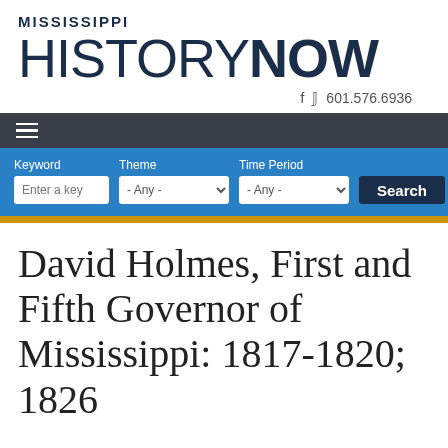MISSISSIPPI HISTORYNOW
f  601.576.6936
David Holmes, First and Fifth Governor of Mississippi: 1817-1820; 1826